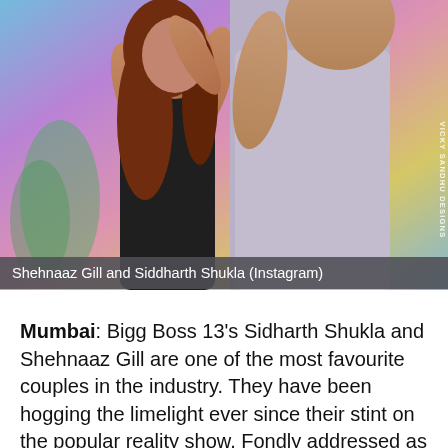[Figure (photo): Photo of Shehnaaz Gill and Siddharth Shukla embracing, with a colorful background. Watermark reads 'VICKY SANDHU DESIGNS' on the right side.]
Shehnaaz Gill and Siddharth Shukla (Instagram)
Mumbai: Bigg Boss 13's Sidharth Shukla and Shehnaaz Gill are one of the most favourite couples in the industry. They have been hogging the limelight ever since their stint on the popular reality show. Fondly addressed as 'SidNaaz' by their fans, the couple often manages to grab the top position on the trends